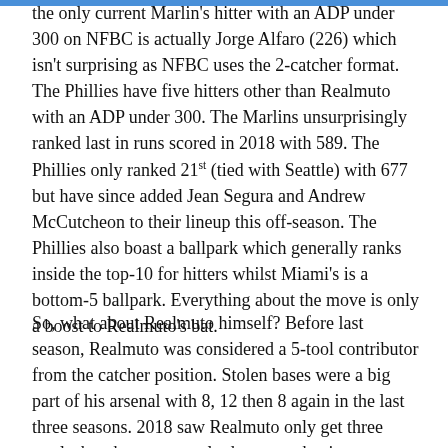the only current Marlin's hitter with an ADP under 300 on NFBC is actually Jorge Alfaro (226) which isn't surprising as NFBC uses the 2-catcher format. The Phillies have five hitters other than Realmuto with an ADP under 300. The Marlins unsurprisingly ranked last in runs scored in 2018 with 589. The Phillies only ranked 21st (tied with Seattle) with 677 but have since added Jean Segura and Andrew McCutcheon to their lineup this off-season. The Phillies also boast a ballpark which generally ranks inside the top-10 for hitters whilst Miami's is a bottom-5 ballpark. Everything about the move is only a boost to Realmuto's bat.
So, what about Realmuto himself? Before last season, Realmuto was considered a 5-tool contributor from the catcher position. Stolen bases were a big part of his arsenal with 8, 12 then 8 again in the last three seasons. 2018 saw Realmuto only get three steals, but that was mostly due to not having opportunities and/or a green light to do so. You'd have to expect the Phillies to utilise him as much as possible and a return to